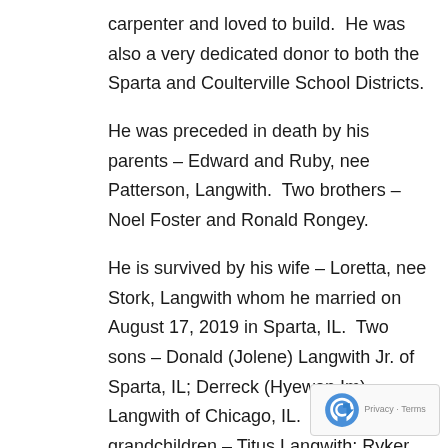carpenter and loved to build.  He was also a very dedicated donor to both the Sparta and Coulterville School Districts.
He was preceded in death by his parents – Edward and Ruby, nee Patterson, Langwith.  Two brothers – Noel Foster and Ronald Rongey.
He is survived by his wife – Loretta, nee Stork, Langwith whom he married on August 17, 2019 in Sparta, IL.  Two sons – Donald (Jolene) Langwith Jr. of Sparta, IL; Derreck (Hyewon Im) Langwith of Chicago, IL.  His grandchildren – Titus Langwith; Ryker Langwith.  Three